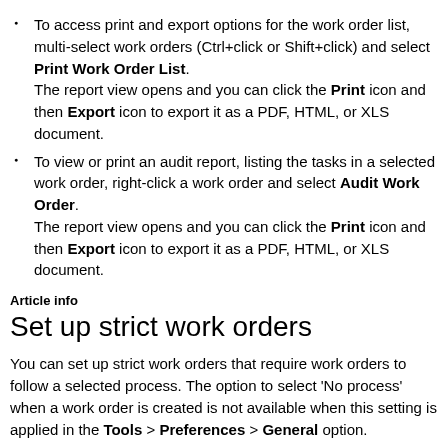To access print and export options for the work order list, multi-select work orders (Ctrl+click or Shift+click) and select Print Work Order List. The report view opens and you can click the Print icon and then Export icon to export it as a PDF, HTML, or XLS document.
To view or print an audit report, listing the tasks in a selected work order, right-click a work order and select Audit Work Order. The report view opens and you can click the Print icon and then Export icon to export it as a PDF, HTML, or XLS document.
Article info
Set up strict work orders
You can set up strict work orders that require work orders to follow a selected process. The option to select 'No process' when a work order is created is not available when this setting is applied in the Tools > Preferences > General option.